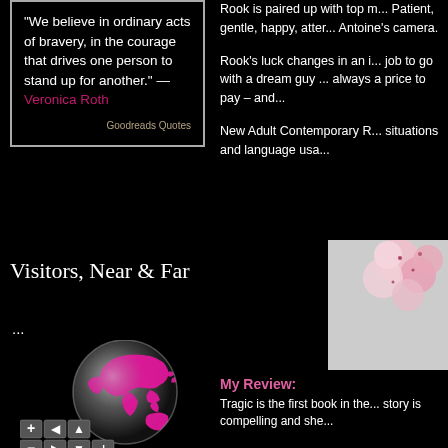“We believe in ordinary acts of bravery, in the courage that drives one person to stand up for another.” —Veronica Roth
Goodreads Quotes
Visitors, Near & Far
...
[Figure (illustration): A globe with pink/magenta landmasses on a dark grey sphere, with navigation control buttons below]
Rook is paired up with top m... Patient, gentle, happy, atter... Antoine's camera.
Rook's luck changes in an i... job to go with a dream guy ... always a price to pay – and...
New Adult Contemporary R... situations and language usa...
[Figure (photo): Pink cherry blossoms / flowers on a light grey background, partially visible]
My Review:
Tragic is the first book in the... story is compelling and she...